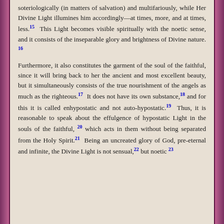soteriologically (in matters of salvation) and multifariously, while Her Divine Light illumines him accordingly—at times, more, and at times, less.15  This Light becomes visible spiritually with the noetic sense, and it consists of the inseparable glory and brightness of Divine nature. 16
Furthermore, it also constitutes the garment of the soul of the faithful, since it will bring back to her the ancient and most excellent beauty, but it simultaneously consists of the true nourishment of the angels as much as the righteous.17  It does not have its own substance,18 and for this it is called enhypostatic and not auto-hypostatic.19  Thus, it is reasonable to speak about the effulgence of hypostatic Light in the souls of the faithful, 20 which acts in them without being separated from the Holy Spirit.21  Being an uncreated glory of God, pre-eternal and infinite, the Divine Light is not sensual,22 but noetic 23